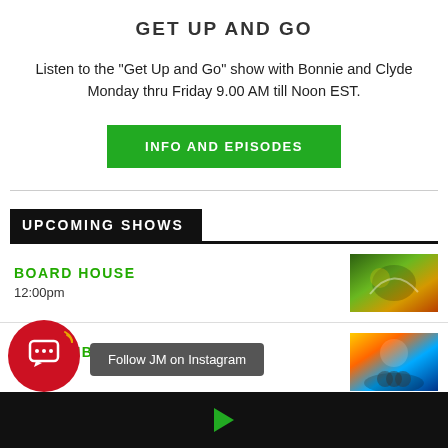GET UP AND GO
Listen to the "Get Up and Go" show with Bonnie and Clyde Monday thru Friday 9.00 AM till Noon EST.
[Figure (other): Green button labeled INFO AND EPISODES]
UPCOMING SHOWS
BOARD HOUSE
12:00pm
[Figure (photo): Colorful illustration with reggae/tropical theme]
KOOL VIBZ WENZDAZE
3:00pm
[Figure (photo): Colorful tropical beach/DJ scene illustration]
[Figure (other): Red chat bubble icon with signal lines and tooltip saying Follow JM on Instagram]
Follow JM on Instagram